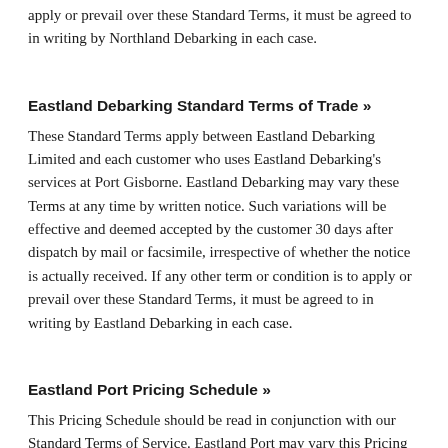apply or prevail over these Standard Terms, it must be agreed to in writing by Northland Debarking in each case.
Eastland Debarking Standard Terms of Trade »
These Standard Terms apply between Eastland Debarking Limited and each customer who uses Eastland Debarking's services at Port Gisborne. Eastland Debarking may vary these Terms at any time by written notice. Such variations will be effective and deemed accepted by the customer 30 days after dispatch by mail or facsimile, irrespective of whether the notice is actually received. If any other term or condition is to apply or prevail over these Standard Terms, it must be agreed to in writing by Eastland Debarking in each case.
Eastland Port Pricing Schedule »
This Pricing Schedule should be read in conjunction with our Standard Terms of Service. Eastland Port may vary this Pricing Schedule at any time. All rates quoted exclude Goods and Services Tax.